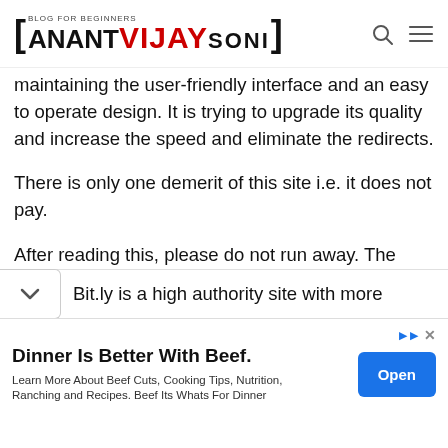BLOG FOR BEGINNERS [ANANT VIJAY SONI]
maintaining the user-friendly interface and an easy to operate design. It is trying to upgrade its quality and increase the speed and eliminate the redirects.
There is only one demerit of this site i.e. it does not pay.
After reading this, please do not run away. The publisher rates of upcoming sites will surprise you.
Bit.ly is a high authority site with more
[Figure (other): Advertisement banner: 'Dinner Is Better With Beef. Learn More About Beef Cuts, Cooking Tips, Nutrition, Ranching and Recipes. Beef Its Whats For Dinner' with an Open button]